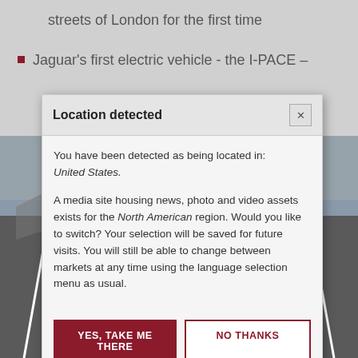streets of London for the first time
Jaguar's first electric vehicle - the I-PACE –
[Figure (screenshot): Location detection modal dialog overlay on a webpage showing a road/highway background image with a Jaguar vehicle news article partially visible behind.]
Location detected
You have been detected as being located in: United States.
A media site housing news, photo and video assets exists for the North American region. Would you like to switch? Your selection will be saved for future visits. You will still be able to change between markets at any time using the language selection menu as usual.